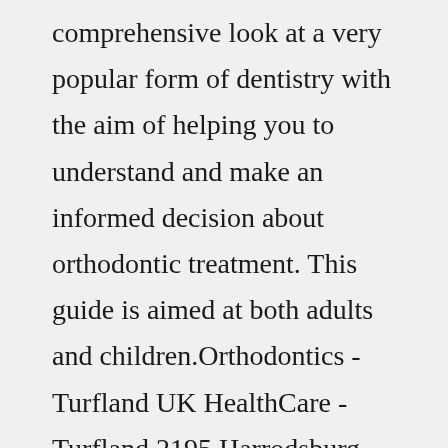comprehensive look at a very popular form of dentistry with the aim of helping you to understand and make an informed decision about orthodontic treatment. This guide is aimed at both adults and children.Orthodontics - Turfland UK HealthCare - Turfland 2195 Harrodsburg Road Suite 175 Lexington, KY 40504 UK … DB Orthodontics - Orthodontic Supplies - DB Orthodontics Limited DB Orthodontics is a globally recognised...